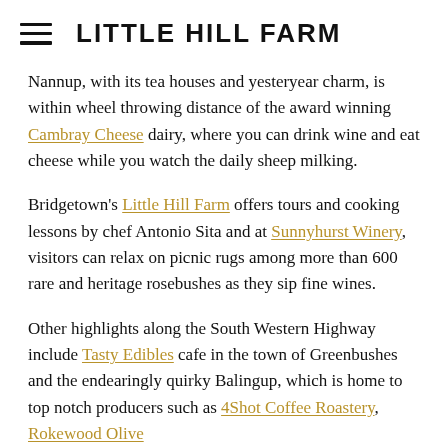LITTLE HILL FARM
Nannup, with its tea houses and yesteryear charm, is within wheel throwing distance of the award winning Cambray Cheese dairy, where you can drink wine and eat cheese while you watch the daily sheep milking.
Bridgetown's Little Hill Farm offers tours and cooking lessons by chef Antonio Sita and at Sunnyhurst Winery, visitors can relax on picnic rugs among more than 600 rare and heritage rosebushes as they sip fine wines.
Other highlights along the South Western Highway include Tasty Edibles cafe in the town of Greenbushes and the endearingly quirky Balingup, which is home to top notch producers such as 4Shot Coffee Roastery, Rokewood Olive